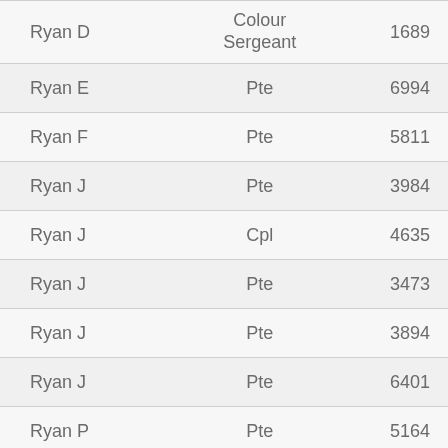| Name | Rank | Number |
| --- | --- | --- |
| Ryan D | Colour Sergeant | 1689 |
| Ryan E | Pte | 6994 |
| Ryan F | Pte | 5811 |
| Ryan J | Pte | 3984 |
| Ryan J | Cpl | 4635 |
| Ryan J | Pte | 3473 |
| Ryan J | Pte | 3894 |
| Ryan J | Pte | 6401 |
| Ryan P | Pte | 5164 |